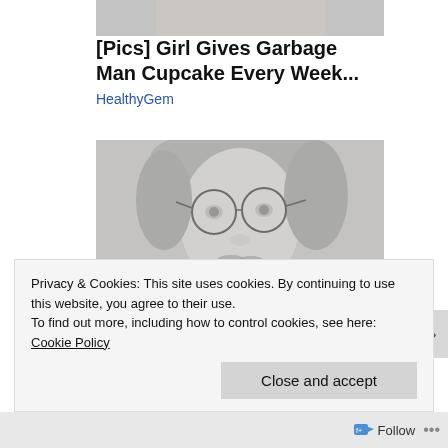[Figure (photo): Partial top image cropped at top of page, appears to show a person]
[Pics] Girl Gives Garbage Man Cupcake Every Week...
HealthyGem
[Figure (photo): Black and white portrait photo of a young man with round glasses, long hair, and a light beard/mustache]
Privacy & Cookies: This site uses cookies. By continuing to use this website, you agree to their use.
To find out more, including how to control cookies, see here: Cookie Policy
Close and accept
Follow